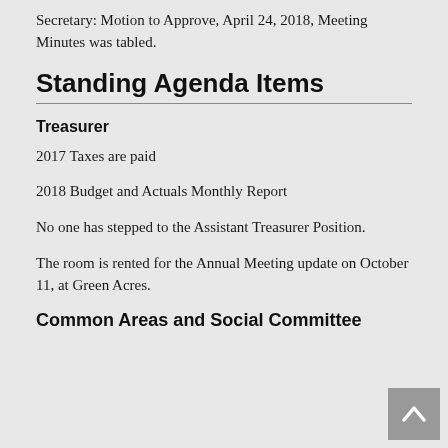Secretary: Motion to Approve, April 24, 2018, Meeting Minutes was tabled.
Standing Agenda Items
Treasurer
2017 Taxes are paid
2018 Budget and Actuals Monthly Report
No one has stepped to the Assistant Treasurer Position.
The room is rented for the Annual Meeting update on October 11, at Green Acres.
Common Areas and Social Committee